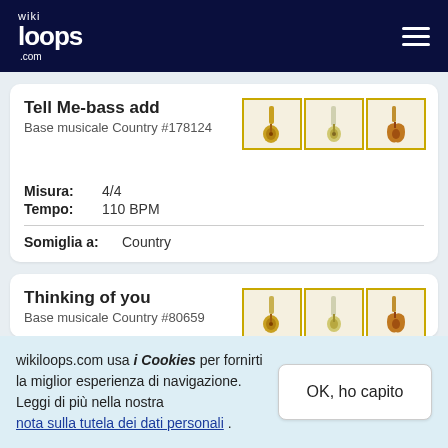wikiloops.com
Tell Me-bass add
Base musicale Country #178124
Misura: 4/4
Tempo: 110 BPM
Somiglia a: Country
Thinking of you
Base musicale Country #80659
wikiloops.com usa i Cookies per fornirti la miglior esperienza di navigazione.
Leggi di più nella nostra nota sulla tutela dei dati personali .